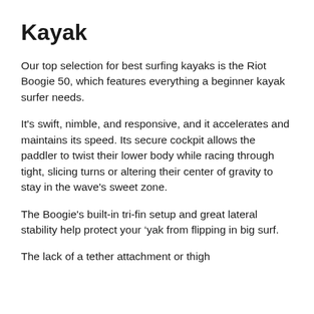Kayak
Our top selection for best surfing kayaks is the Riot Boogie 50, which features everything a beginner kayak surfer needs.
It's swift, nimble, and responsive, and it accelerates and maintains its speed. Its secure cockpit allows the paddler to twist their lower body while racing through tight, slicing turns or altering their center of gravity to stay in the wave's sweet zone.
The Boogie's built-in tri-fin setup and great lateral stability help protect your ‘yak from flipping in big surf.
The lack of a tether attachment or thigh